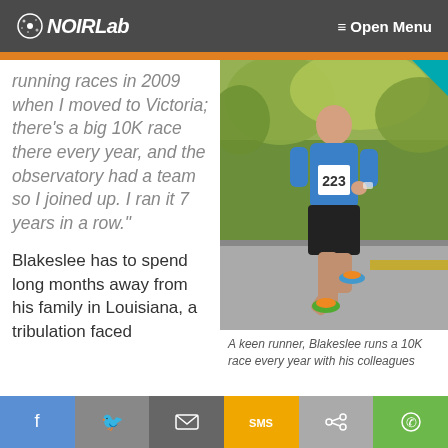NOIRLab  ≡ Open Menu
running races in 2009 when I moved to Victoria; there's a big 10K race there every year, and the observatory had a team so I joined up. I ran it 7 years in a row."
Blakeslee has to spend long months away from his family in Louisiana, a tribulation faced
[Figure (photo): A man wearing a blue t-shirt and black shorts with race bib number 223 running on a road during a 10K race, with trees in the background.]
A keen runner, Blakeslee runs a 10K race every year with his colleagues
f  Twitter  Email  SMS  Share  WhatsApp